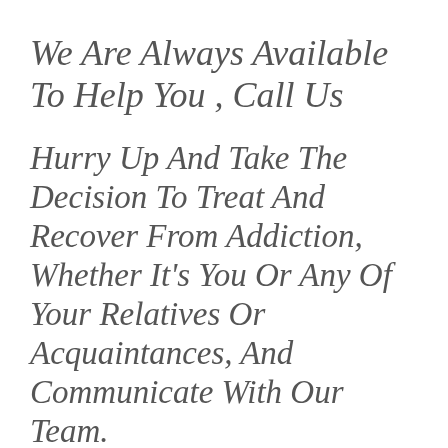We Are Always Available To Help You , Call Us
Hurry Up And Take The Decision To Treat And Recover From Addiction, Whether It's You Or Any Of Your Relatives Or Acquaintances, And Communicate With Our Team.